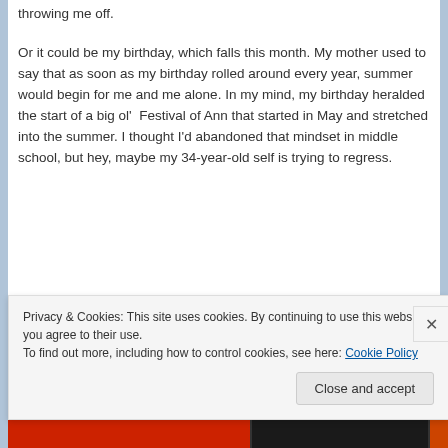throwing me off.
Or it could be my birthday, which falls this month. My mother used to say that as soon as my birthday rolled around every year, summer would begin for me and me alone. In my mind, my birthday heralded the start of a big ol'  Festival of Ann that started in May and stretched into the summer. I thought I'd abandoned that mindset in middle school, but hey, maybe my 34-year-old self is trying to regress.
Privacy & Cookies: This site uses cookies. By continuing to use this website, you agree to their use. To find out more, including how to control cookies, see here: Cookie Policy